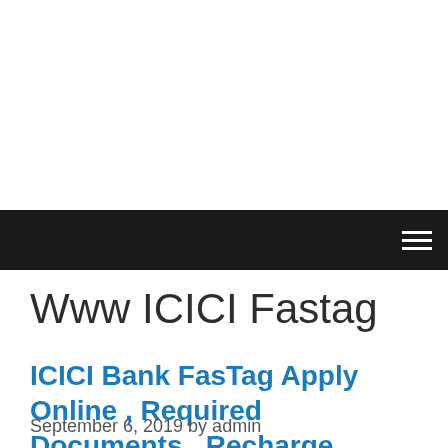Www ICICI Fastag
ICICI Bank FasTag Apply Online , Required Documents , Recharge Online
September 6, 2019 by admin